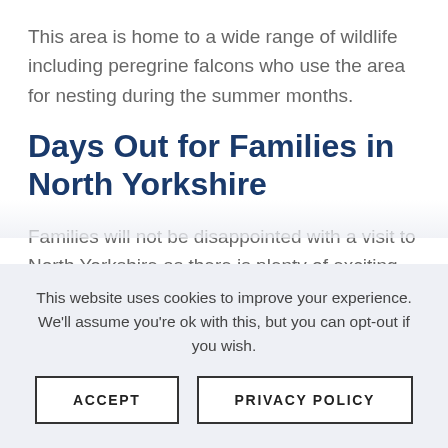This area is home to a wide range of wildlife including peregrine falcons who use the area for nesting during the summer months.
Days Out for Families in North Yorkshire
Families will not be disappointed with a visit to North Yorkshire as there is plenty of exciting things to keep them busy.
York Chocolate Factory
This website uses cookies to improve your experience. We'll assume you're ok with this, but you can opt-out if you wish.